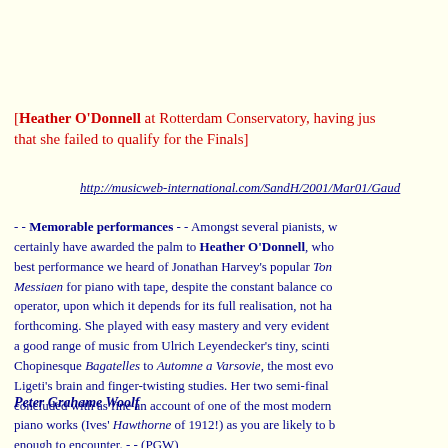[Heather O'Donnell at Rotterdam Conservatory, having just learned that she failed to qualify for the Finals]
http://musicweb-international.com/SandH/2001/Mar01/Gaud...
- - Memorable performances - - Amongst several pianists, we certainly have awarded the palm to Heather O'Donnell, who gave the best performance we heard of Jonathan Harvey's popular Ton... Messiaen for piano with tape, despite the constant balance co... operator, upon which it depends for its full realisation, not ha... forthcoming. She played with easy mastery and very evident... a good range of music from Ulrich Leyendecker's tiny, scinti... Chopinesque Bagatelles to Automne a Varsovie, the most evo... Ligeti's brain and finger-twisting studies. Her two semi-final... concluded with as fine an account of one of the most modern... piano works (Ives' Hawthorne of 1912!) as you are likely to b... enough to encounter. - - (PGW)
Peter Grahame Woolf